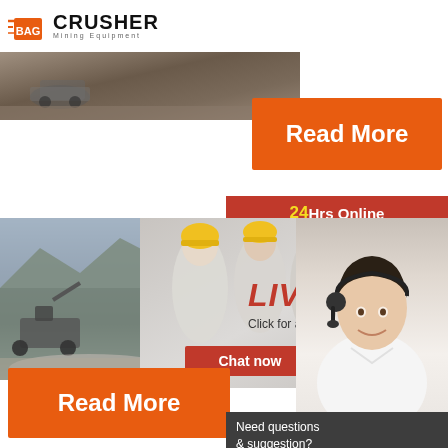[Figure (logo): Crusher Mining Equipment logo with shopping bag icon and bold CRUSHER text]
[Figure (photo): Top banner photo of mining/construction site with vehicles and earth]
[Figure (photo): Read More button (orange)]
[Figure (infographic): 24Hrs Online banner in red]
[Figure (photo): Mining site photo on the left side]
[Figure (screenshot): Live Chat popup overlay with workers photo, LIVE CHAT heading, Click for a Free Consultation text, Chat now and Chat later buttons]
2021-12-
[Figure (photo): Read More button (orange) at bottom left]
[Figure (photo): Customer service representative photo on right side]
[Figure (infographic): Sidebar panel: Need questions & suggestion? Chat Now button, Enquiry section, limingjlmofen@sina.com email]